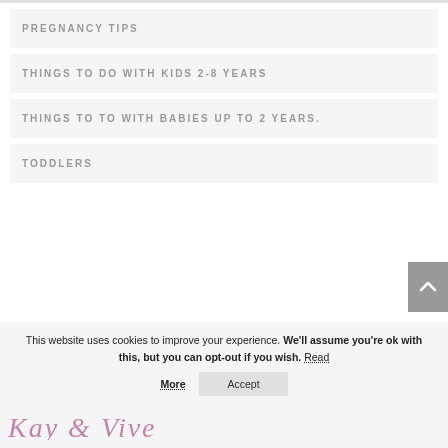PREGNANCY TIPS
THINGS TO DO WITH KIDS 2-8 YEARS
THINGS TO TO WITH BABIES UP TO 2 YEARS.
TODDLERS
This website uses cookies to improve your experience. We'll assume you're ok with this, but you can opt-out if you wish. Read More  Accept
[Figure (logo): Cursive signature logo in purple/mauve color at the bottom of the page]